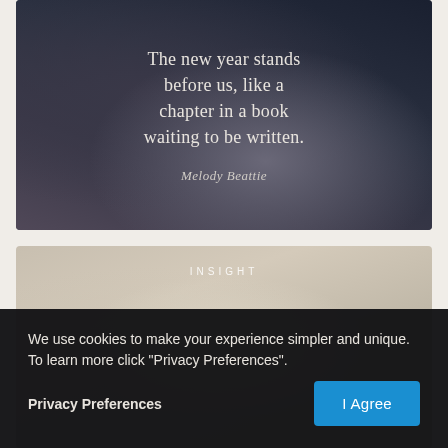[Figure (illustration): Dark textured background (animal fur) with white quote text overlay reading 'The new year stands before us, like a chapter in a book waiting to be written.' attributed to Melody Beattie]
[Figure (photo): Light beige/cream blurred background with 'INSIGHT' label in spaced white letters near the top center]
We use cookies to make your experience simpler and unique. To learn more click "Privacy Preferences".
Privacy Preferences
I Agree